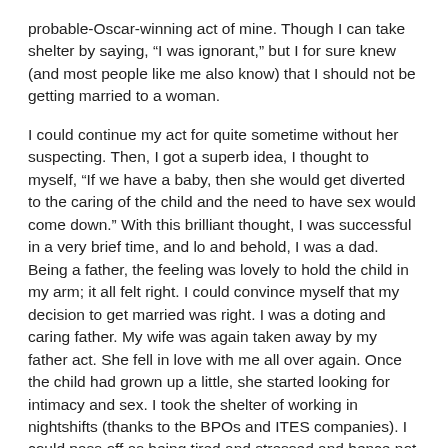probable-Oscar-winning act of mine. Though I can take shelter by saying, “I was ignorant,” but I for sure knew (and most people like me also know) that I should not be getting married to a woman.
I could continue my act for quite sometime without her suspecting. Then, I got a superb idea, I thought to myself, “If we have a baby, then she would get diverted to the caring of the child and the need to have sex would come down.” With this brilliant thought, I was successful in a very brief time, and lo and behold, I was a dad. Being a father, the feeling was lovely to hold the child in my arm; it all felt right. I could convince myself that my decision to get married was right. I was a doting and caring father. My wife was again taken away by my father act. She fell in love with me all over again. Once the child had grown up a little, she started looking for intimacy and sex. I took the shelter of working in nightshifts (thanks to the BPOs and ITES companies). I could pass off as being tired and stressed and hence not interested in having sex. Hats off to her, she has been really tolerant and bought my excuse. When she started to discuss about sex more often, then I thought, it was the time for the second child.